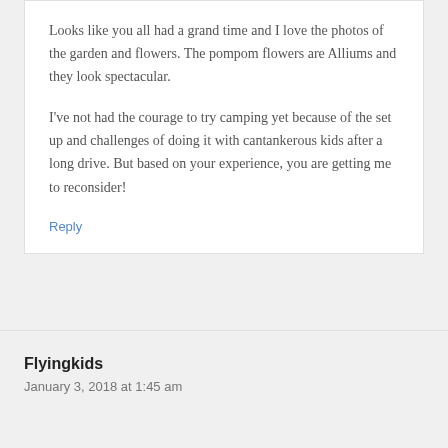Looks like you all had a grand time and I love the photos of the garden and flowers. The pompom flowers are Alliums and they look spectacular.
I've not had the courage to try camping yet because of the set up and challenges of doing it with cantankerous kids after a long drive. But based on your experience, you are getting me to reconsider!
Reply
Flyingkids
January 3, 2018 at 1:45 am